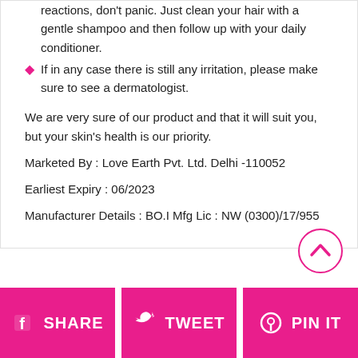reactions, don't panic. Just clean your hair with a gentle shampoo and then follow up with your daily conditioner.
If in any case there is still any irritation, please make sure to see a dermatologist.
We are very sure of our product and that it will suit you, but your skin's health is our priority.
Marketed By : Love Earth Pvt. Ltd. Delhi -110052
Earliest Expiry : 06/2023
Manufacturer Details : BO.I Mfg Lic : NW (0300)/17/955
[Figure (other): Scroll-to-top button: circle with upward chevron arrow in pink outline]
SHARE  TWEET  PIN IT